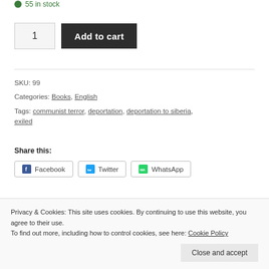55 in stock
1  Add to cart
SKU: 99
Categories: Books, English
Tags: communist terror, deportation, deportation to siberia, exiled
Share this:
Facebook  Twitter  WhatsApp
Privacy & Cookies: This site uses cookies. By continuing to use this website, you agree to their use. To find out more, including how to control cookies, see here: Cookie Policy
Close and accept